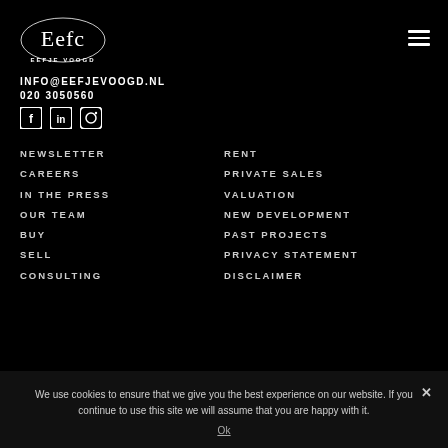[Figure (logo): Eefje Voogd Makelaardij logo with cursive script and text]
INFO@EEFJEVOOGD.NL
020 3050560
[Figure (illustration): Social media icons: Facebook, LinkedIn, Instagram]
NEWSLETTER
CAREERS
IN THE PRESS
OUR TEAM
BUY
SELL
CONSULTING
RENT
PRIVATE SALES
VALUATION
NEW DEVELOPMENT
PAST PROJECTS
PRIVACY STATEMENT
DISCLAIMER
We use cookies to ensure that we give you the best experience on our website. If you continue to use this site we will assume that you are happy with it.
Ok